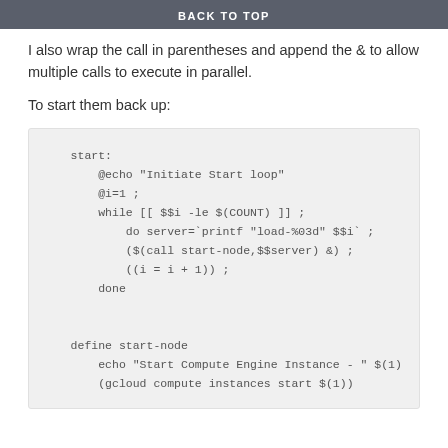BACK TO TOP
I also wrap the call in parentheses and append the & to allow multiple calls to execute in parallel.
To start them back up:
start:
    @echo "Initiate Start loop"
    @i=1 ;
    while [[ $$i -le $(COUNT) ]] ;
        do server=`printf "load-%03d" $$i` ;
        ($(call start-node,$$server) &) ;
        ((i = i + 1)) ;
    done

define start-node
    echo "Start Compute Engine Instance - " $(1)
    (gcloud compute instances start $(1))